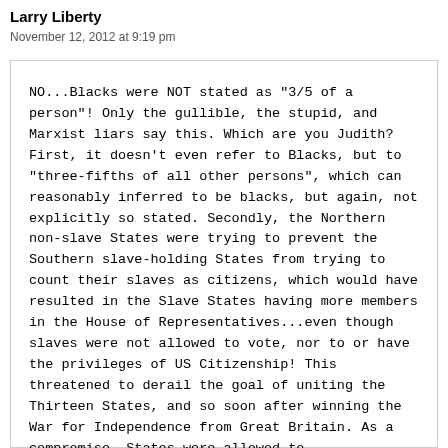Larry Liberty
November 12, 2012 at 9:19 pm
NO...Blacks were NOT stated as "3/5 of a person"! Only the gullible, the stupid, and Marxist liars say this. Which are you Judith? First, it doesn't even refer to Blacks, but to "three-fifths of all other persons", which can reasonably inferred to be blacks, but again, not explicitly so stated. Secondly, the Northern non-slave States were trying to prevent the Southern slave-holding States from trying to count their slaves as citizens, which would have resulted in the Slave States having more members in the House of Representatives...even though slaves were not allowed to vote, nor to or have the privileges of US Citizenship! This threatened to derail the goal of uniting the Thirteen States, and so soon after winning the War for Independence from Great Britain. As a compromise, States were allowed to